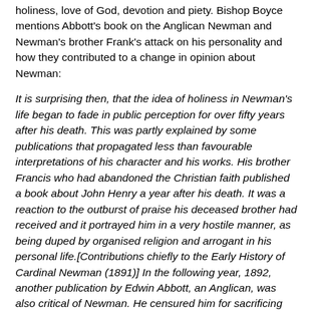holiness, love of God, devotion and piety. Bishop Boyce mentions Abbott's book on the Anglican Newman and Newman's brother Frank's attack on his personality and how they contributed to a change in opinion about Newman:
It is surprising then, that the idea of holiness in Newman's life began to fade in public perception for over fifty years after his death. This was partly explained by some publications that propagated less than favourable interpretations of his character and his works. His brother Francis who had abandoned the Christian faith published a book about John Henry a year after his death. It was a reaction to the outburst of praise his deceased brother had received and it portrayed him in a very hostile manner, as being duped by organised religion and arrogant in his personal life.[Contributions chiefly to the Early History of Cardinal Newman (1891)] In the following year, 1892, another publication by Edwin Abbott, an Anglican, was also critical of Newman. He censured him for sacrificing his reason to the demands of an unfounded and irrational faith.
What such critics of Newman have to do is revive Kingsley's